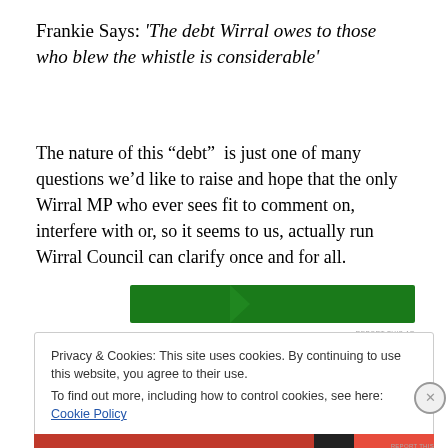Frankie Says: 'The debt Wirral owes to those who blew the whistle is considerable'
The nature of this “debt”  is just one of many questions we’d like to raise and hope that the only Wirral MP who ever sees fit to comment on, interfere with or, so it seems to us, actually run Wirral Council can clarify once and for all.
[Figure (other): Green advertisement banner bar]
Privacy & Cookies: This site uses cookies. By continuing to use this website, you agree to their use.
To find out more, including how to control cookies, see here: Cookie Policy
Close and accept